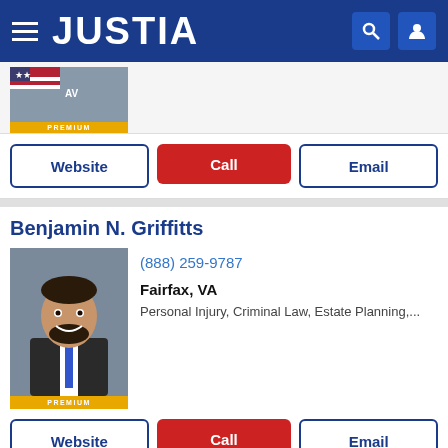JUSTIA
[Figure (photo): Premium attorney photo thumbnail with US flag overlay and PREMIUM badge]
Website | Call | Email buttons
Benjamin N. Griffitts
[Figure (photo): Headshot of Benjamin N. Griffitts in suit with blue tie, PREMIUM badge]
(888) 259-9787
Fairfax, VA
Personal Injury, Criminal Law, Estate Planning,...
Website | Call | Email buttons
Matthew C. Perushek
[Figure (photo): Headshot of Matthew C. Perushek]
(703) 925-0500
Fairfax, VA